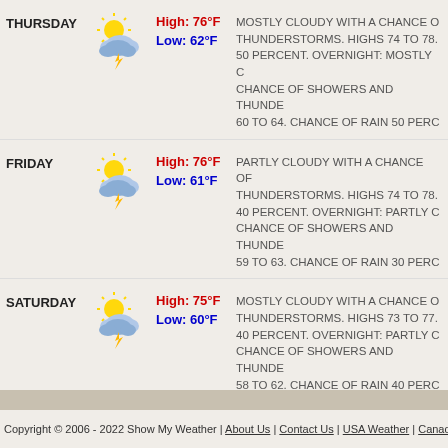THURSDAY — High: 76°F Low: 62°F — MOSTLY CLOUDY WITH A CHANCE OF THUNDERSTORMS. HIGHS 74 TO 78. 50 PERCENT. OVERNIGHT: MOSTLY CLOUDY CHANCE OF SHOWERS AND THUNDERSTORMS. LOWS 60 TO 64. CHANCE OF RAIN 50 PERCENT.
[Figure (illustration): Weather icon: partly cloudy with thunderstorms]
FRIDAY — High: 76°F Low: 61°F — PARTLY CLOUDY WITH A CHANCE OF THUNDERSTORMS. HIGHS 74 TO 78. 40 PERCENT. OVERNIGHT: PARTLY CLOUDY CHANCE OF SHOWERS AND THUNDERSTORMS. LOWS 59 TO 63. CHANCE OF RAIN 30 PERCENT.
[Figure (illustration): Weather icon: partly cloudy with thunderstorms]
SATURDAY — High: 75°F Low: 60°F — MOSTLY CLOUDY WITH A CHANCE OF THUNDERSTORMS. HIGHS 73 TO 77. 40 PERCENT. OVERNIGHT: PARTLY CLOUDY CHANCE OF SHOWERS AND THUNDERSTORMS. LOWS 58 TO 62. CHANCE OF RAIN 40 PERCENT.
[Figure (illustration): Weather icon: partly cloudy with thunderstorms]
Copyright © 2006 - 2022 Show My Weather | About Us | Contact Us | USA Weather | Canadi...